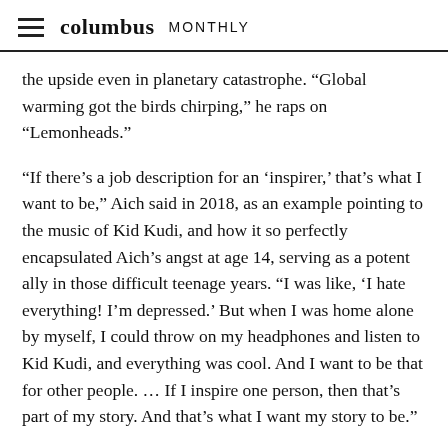≡ columbus MONTHLY
the upside even in planetary catastrophe. “Global warming got the birds chirping,” he raps on “Lemonheads.”
“If there's a job description for an ‘inspirer,’ that's what I want to be,” Aich said in 2018, as an example pointing to the music of Kid Kudi, and how it so perfectly encapsulated Aich's angst at age 14, serving as a potent ally in those difficult teenage years. “I was like, ‘I hate everything! I’m depressed.’ But when I was home alone by myself, I could throw on my headphones and listen to Kid Kudi, and everything was cool. And I want to be that for other people. … If I inspire one person, then that's part of my story. And that's what I want my story to be.”